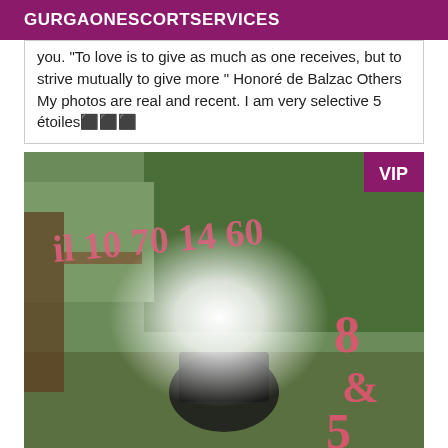GURGAONESCORTSERVICES
you. "To love is to give as much as one receives, but to strive mutually to give more " Honoré de Balzac Others My photos are real and recent. I am very selective 5 étoiles⭐⭐⭐
[Figure (photo): Outdoor garden photo with person and hedge background, pink overlaid numbers/text watermark, bright light flare in center, VIP badge top right]